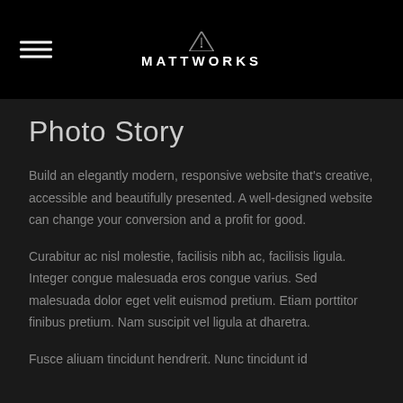MATTWORKS
Photo Story
Build an elegantly modern, responsive website that's creative, accessible and beautifully presented. A well-designed website can change your conversion and a profit for good.
Curabitur ac nisl molestie, facilisis nibh ac, facilisis ligula. Integer congue malesuada eros congue varius. Sed malesuada dolor eget velit euismod pretium. Etiam porttitor finibus pretium. Nam suscipit vel ligula at dharetra.
Fusce aliuam tincidunt hendrerit. Nunc tincidunt id